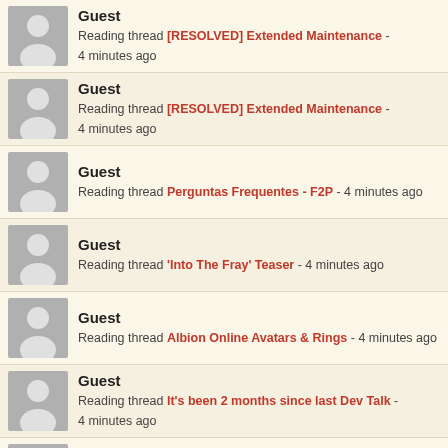Guest - Reading thread [RESOLVED] Extended Maintenance - 4 minutes ago
Guest - Reading thread [RESOLVED] Extended Maintenance - 4 minutes ago
Guest - Reading thread Perguntas Frequentes - F2P - 4 minutes ago
Guest - Reading thread 'Into The Fray' Teaser - 4 minutes ago
Guest - Reading thread Albion Online Avatars & Rings - 4 minutes ago
Guest - Reading thread It's been 2 months since last Dev Talk - 4 minutes ago
Guest - Viewing profile Elsa - 4 minutes ago